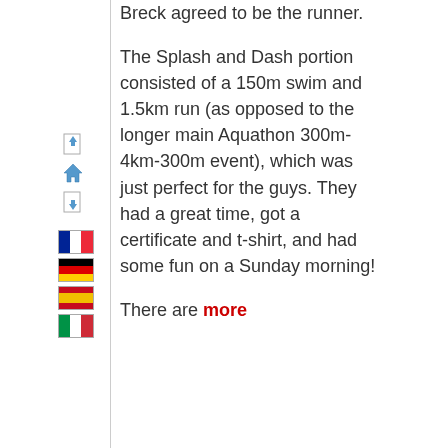Breck agreed to be the runner.
The Splash and Dash portion consisted of a 150m swim and 1.5km run (as opposed to the longer main Aquathon 300m-4km-300m event), which was just perfect for the guys. They had a great time, got a certificate and t-shirt, and had some fun on a Sunday morning!
There are more